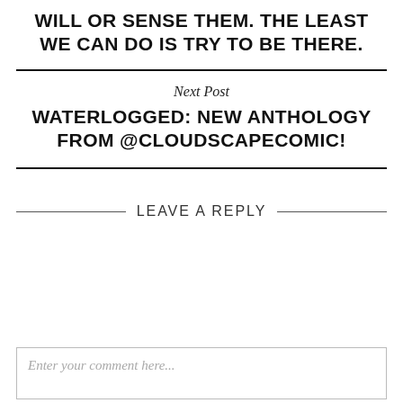WILL OR SENSE THEM. THE LEAST WE CAN DO IS TRY TO BE THERE.
Next Post
WATERLOGGED: NEW ANTHOLOGY FROM @CLOUDSCAPECOMIC!
LEAVE A REPLY
Enter your comment here...